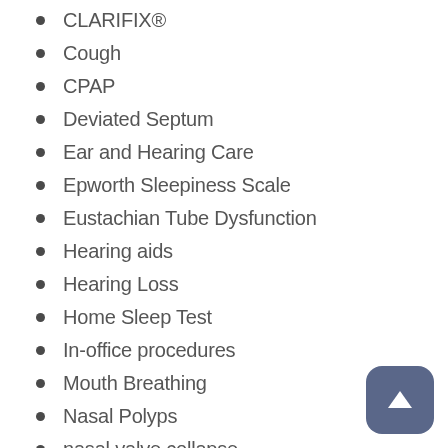CLARIFIX®
Cough
CPAP
Deviated Septum
Ear and Hearing Care
Epworth Sleepiness Scale
Eustachian Tube Dysfunction
Hearing aids
Hearing Loss
Home Sleep Test
In-office procedures
Mouth Breathing
Nasal Polyps
nasal valve collapse
Pediatric ENT
RHINOPLASTY
Runny Nose